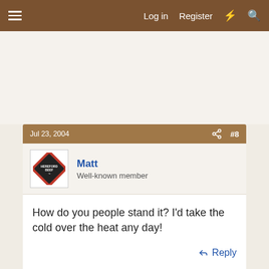Log in   Register
How do you people stand it? I'd take the cold over the heat any day!
Matt
Well-known member
Jul 23, 2004  #8
Reply
Jul 23, 2004  #9
sidney411
Well-known member